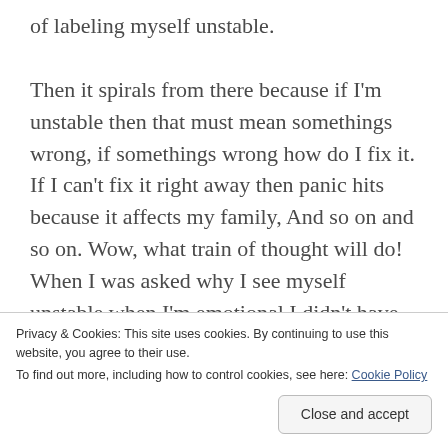of labeling myself unstable.

Then it spirals from there because if I'm unstable then that must mean somethings wrong, if somethings wrong how do I fix it. If I can't fix it right away then panic hits because it affects my family, And so on and so on. Wow, what train of thought will do! When I was asked why I see myself unstable when I'm emotional I didn't have an answer. In all honesty I admire some of the most emotional women I know, I actually see them as strong because most of the time, when they are emotional it's because they are embracing all the feels! And isn't that how we process feelings? Thoughts? Embracing?
Privacy & Cookies: This site uses cookies. By continuing to use this website, you agree to their use.
To find out more, including how to control cookies, see here: Cookie Policy
Close and accept